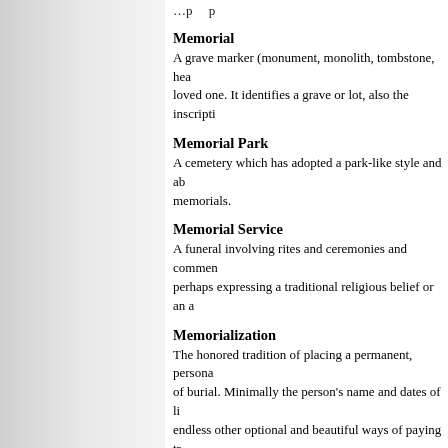(partial text from previous entry)
Memorial
A grave marker (monument, monolith, tombstone, hea loved one. It identifies a grave or lot, also the inscripti
Memorial Park
A cemetery which has adopted a park-like style and ab memorials.
Memorial Service
A funeral involving rites and ceremonies and commen perhaps expressing a traditional religious belief or an a
Memorialization
The honored tradition of placing a permanent, persona of burial. Minimally the person's name and dates of li endless other optional and beautiful ways of paying tr be chosen depending on the regulations of the cemete Vases, benches, emblems, symbols, granite etchings d ceramics are the most common features of memoriali examples.
Ministry of Consolation
The ministry of consolation is the offering of a person Church Co experiencing ministry is companion service. W dies, the e ministry o
[Figure (photo): Butterfly with blue and brown wings, partially visible, positioned at bottom right of the page]